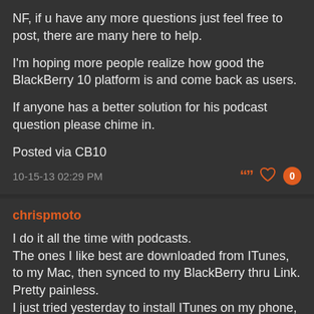NF, if u have any more questions just feel free to post, there are many here to help.

I'm hoping more people realize how good the BlackBerry 10 platform is and come back as users.

If anyone has a better solution for his podcast question please chime in.

Posted via CB10
10-15-13 02:29 PM
chrispmoto
I do it all the time with podcasts.
The ones I like best are downloaded from ITunes, to my Mac, then synced to my BlackBerry thru Link.
Pretty painless.
I just tried yesterday to install ITunes on my phone, but it didn't work.